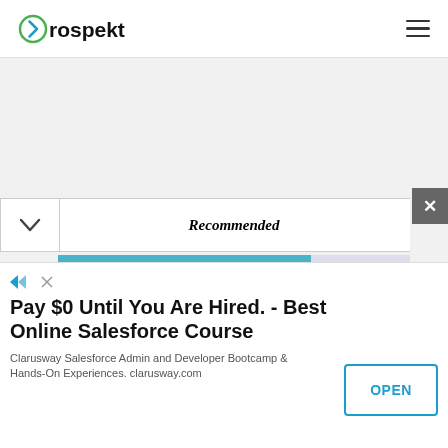Prospekt
[Figure (screenshot): Prospekt website navigation bar with logo on left and hamburger menu icon on right, over a light grey content area with a recommended panel and progress bar overlay]
Recommended
Pay $0 Until You Are Hired. - Best Online Salesforce Course
Clarusway Salesforce Admin and Developer Bootcamp & Hands-On Experiences. clarusway.com
OPEN